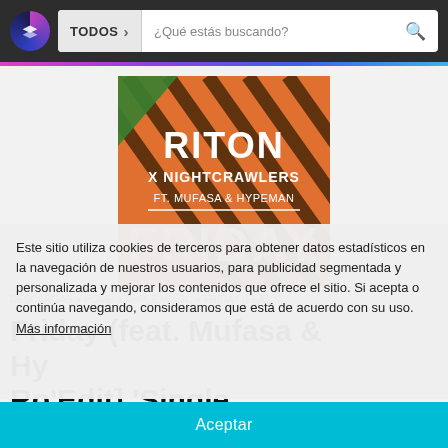TODOS | ¿Qué estás buscando?
[Figure (illustration): Album cover for Riton x Nightcrawlers ft. Mufasa & Hypeman - Friday. Orange background with diagonal stripes, large text RITON X NIGHTCRAWLERS FT. MUFASA & HYPEMAN FRIDAY]
Este sitio utiliza cookies de terceros para obtener datos estadísticos en la navegación de nuestros usuarios, para publicidad segmentada y personalizada y mejorar los contenidos que ofrece el sitio. Si acepta o continúa navegando, consideramos que está de acuerdo con su uso. Más información
Aceptar
DESCARGAS > HOME > APPLE MUSIC > FRIDAY (FEAT. ...
Friday (feat. Mufasa & Hypeman) [Ro'Edit] 'Single